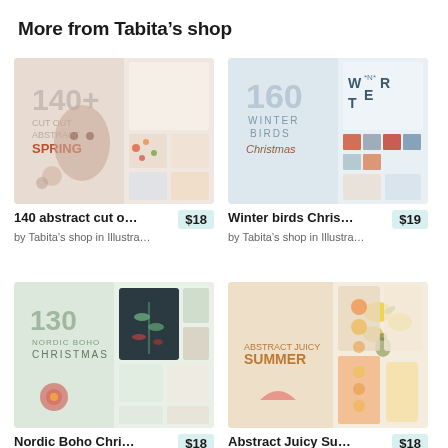More from Tabita's shop
[Figure (photo): Product image for 140 abstract cut out spring clipart collection]
140 abstract cut o…
$18
by Tabita's shop in Illustra…
[Figure (photo): Product image for Winter birds Christmas clipart collection]
Winter birds Chris…
$19
by Tabita's shop in Illustra…
[Figure (photo): Product image for Nordic Boho Christmas clipart collection]
Nordic Boho Chri…
$18
[Figure (photo): Product image for Abstract Juicy Summer clipart collection]
Abstract Juicy Su…
$18